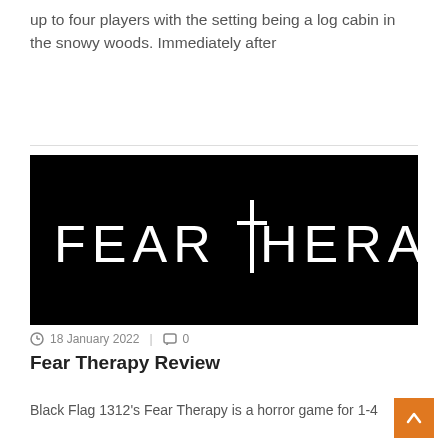up to four players with the setting being a log cabin in the snowy woods. Immediately after
READ MORE
[Figure (logo): Fear Therapy logo — white stylized text on black background reading 'FEAR THERAPY' with a cross/plus symbol replacing the T in THERAPY]
18 January 2022  |  0
Fear Therapy Review
Black Flag 1312's Fear Therapy is a horror game for 1-4